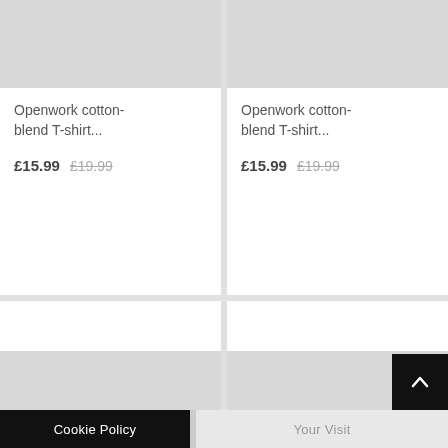[Figure (screenshot): Product card for Openwork cotton-blend T-shirt, top-left, showing grey placeholder image, title, current price £15.99 and original price £19.99]
[Figure (screenshot): Product card for Openwork cotton-blend T-shirt, top-right, showing grey placeholder image, title, current price £15.99 and original price £19.99]
[Figure (screenshot): Product card bottom-left, showing white card with grey placeholder image partially visible]
[Figure (screenshot): Product card bottom-right, showing white card with grey placeholder image partially visible]
Cookie Policy    Your Visit